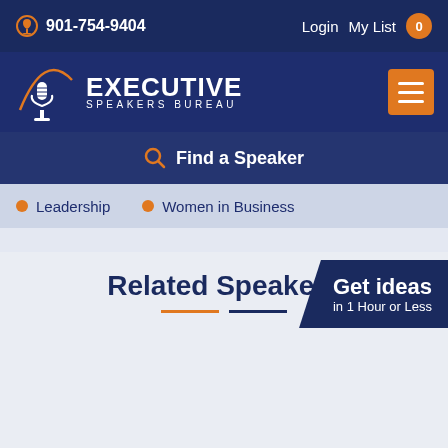901-754-9404   Login   My List 0
[Figure (logo): Executive Speakers Bureau logo with microphone icon and orange arc, white text on dark navy background]
Find a Speaker
Leadership
Women in Business
Related Speakers
[Figure (infographic): Get ideas in 1 Hour or Less promotional banner on dark navy background with angled left edge]
[Figure (photo): Headshot of a middle-aged bald man in a suit against a grey background]